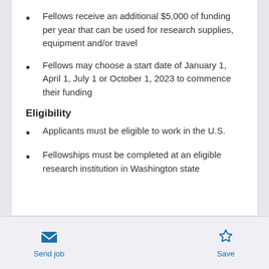Fellows receive an additional $5,000 of funding per year that can be used for research supplies, equipment and/or travel
Fellows may choose a start date of January 1, April 1, July 1 or October 1, 2023 to commence their funding
Eligibility
Applicants must be eligible to work in the U.S.
Fellowships must be completed at an eligible research institution in Washington state
Send job  Save